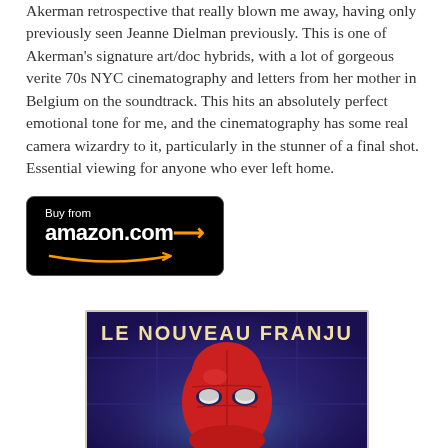Akerman retrospective that really blown me away, having only previously seen Jeanne Dielman previously. This is one of Akerman's signature art/doc hybrids, with a lot of gorgeous verite 70s NYC cinematography and letters from her mother in Belgium on the soundtrack. This hits an absolutely perfect emotional tone for me, and the cinematography has some real camera wizardry to it, particularly in the stunner of a final shot. Essential viewing for anyone who ever left home.
[Figure (other): Buy from amazon.com button — black rounded rectangle with 'Buy from' text and 'amazon.com' logo with orange arrow]
[Figure (photo): Movie poster for 'LE NOUVEAU FRANJU' — dark purple/blue background with a red masked face (superhero-style mask) in the center, title text at top in cream/beige bold letters]